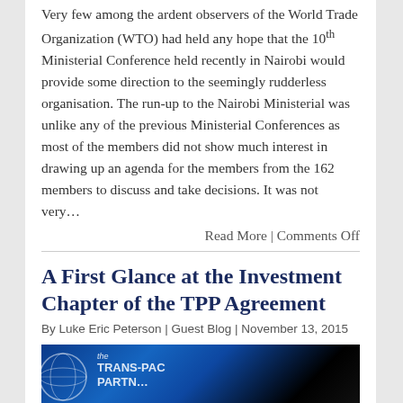Very few among the ardent observers of the World Trade Organization (WTO) had held any hope that the 10th Ministerial Conference held recently in Nairobi would provide some direction to the seemingly rudderless organisation. The run-up to the Nairobi Ministerial was unlike any of the previous Ministerial Conferences as most of the members did not show much interest in drawing up an agenda for the members from the 162 members to discuss and take decisions. It was not very…
Read More | Comments Off
A First Glance at the Investment Chapter of the TPP Agreement
By Luke Eric Peterson | Guest Blog | November 13, 2015
[Figure (photo): Photo of a blue illuminated Trans-Pacific Partnership (TPP) sign/display with globe logo]